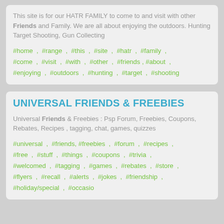This site is for our HATR FAMILY to come to and visit with other Friends and Family. We are all about enjoying the outdoors. Hunting Target Shooting, Gun Collecting
#home , #range , #this , #site , #hatr , #family , #come , #visit , #with , #other , #friends , #about , #enjoying , #outdoors , #hunting , #target , #shooting
UNIVERSAL FRIENDS & FREEBIES
Universal Friends & Freebies : Psp Forum, Freebies, Coupons, Rebates, Recipes , tagging, chat, games, quizzes
#universal , #friends, #freebies , #forum , #recipes , #free , #stuff , #things , #coupons , #trivia , #welcomed , #tagging , #games , #rebates , #store , #flyers , #recall , #alerts , #jokes , #friendship , #holiday/special , #occasio